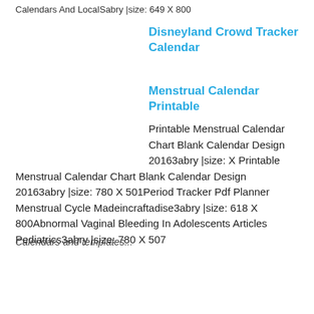Calendars And LocalSabry |size: 649 X 800
Disneyland Crowd Tracker Calendar
Menstrual Calendar Printable
Printable Menstrual Calendar Chart Blank Calendar Design 20163abry |size: X Printable Menstrual Calendar Chart Blank Calendar Design 20163abry |size: 780 X 501Period Tracker Pdf Planner Menstrual Cycle Madeincraftadise3abry |size: 618 X 800Abnormal Vaginal Bleeding In Adolescents Articles Pediatrics3abry |size: 780 X 507